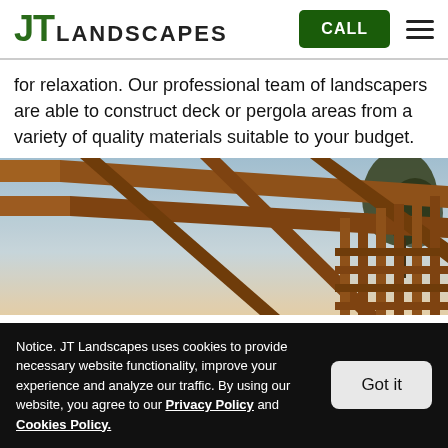JT LANDSCAPES | CALL
for relaxation. Our professional team of landscapers are able to construct deck or pergola areas from a variety of quality materials suitable to your budget.
[Figure (photo): Close-up photograph of a wooden pergola structure shot from below, showing brown timber beams against a blue sky with a tree in the background.]
Notice. JT Landscapes uses cookies to provide necessary website functionality, improve your experience and analyze our traffic. By using our website, you agree to our Privacy Policy and Cookies Policy.